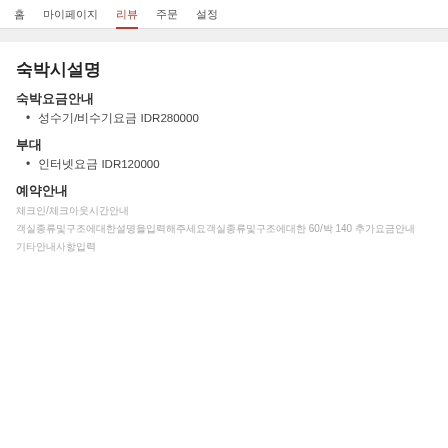홈  마이페이지  리뷰  주문  설정
숙박시설명
숙박요금안내
성수기/비수기요금 IDR280000
부대
인터넷요금 IDR120000
예약안내
체크인/체크아웃시간안내
객실종류및구조에대한설명을입력해주세요 60/박 140 추가요금안내
기타안내사항입력